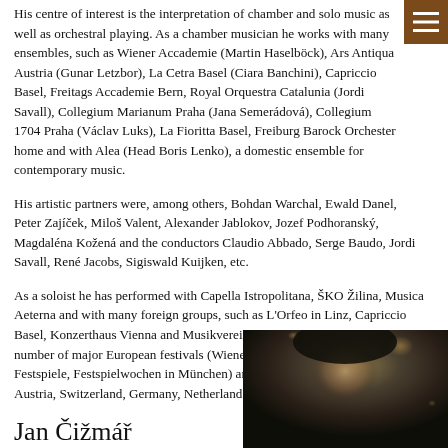His centre of interest is the interpretation of chamber and solo music as well as orchestral playing. As a chamber musician he works with many ensembles, such as Wiener Accademie (Martin Haselböck), Ars Antiqua Austria (Gunar Letzbor), La Cetra Basel (Ciara Banchini), Capriccio Basel, Freitags Accademie Bern, Royal Orquestra Catalunia (Jordi Savall), Collegium Marianum Praha (Jana Semerádová), Collegium 1704 Praha (Václav Luks), La Fioritta Basel, Freiburg Barock Orchester home and with Alea (Head Boris Lenko), a domestic ensemble for contemporary music.
His artistic partners were, among others, Bohdan Warchal, Ewald Danel, Peter Zajíček, Miloš Valent, Alexander Jablokov, Jozef Podhoranský, Magdaléna Kožená and the conductors Claudio Abbado, Serge Baudo, Jordi Savall, René Jacobs, Sigiswald Kuijken, etc.
As a soloist he has performed with Capella Istropolitana, ŠKO Žilina, Musica Aeterna and with many foreign groups, such as L'Orfeo in Linz, Capriccio Basel, Konzerthaus Vienna and Musikverein Vienna. He has performed at a number of major European festivals (Wiener Festspielwochen, Salzburger Festspiele, Festspielwochen in München) and at early music festivals in Italy, Austria, Switzerland, Germany, Netherlands and Spain.
Jan Čižmář
Jan Čižmář is a versatile performer focusing on historical
[Figure (photo): Photo of Jan Čižmář, mostly dark/bokeh background with partial face visible]